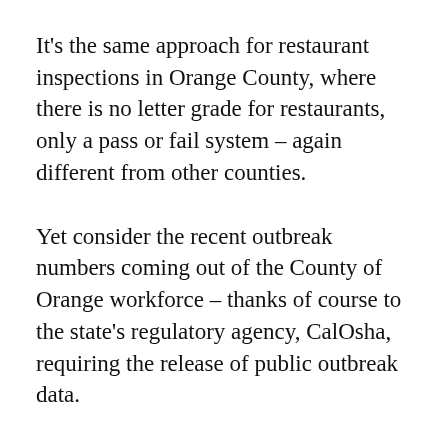It's the same approach for restaurant inspections in Orange County, where there is no letter grade for restaurants, only a pass or fail system – again different from other counties.
Yet consider the recent outbreak numbers coming out of the County of Orange workforce – thanks of course to the state's regulatory agency, CalOsha, requiring the release of public outbreak data.
The numbers offer residents an ability to question how different departments are managing COVID.